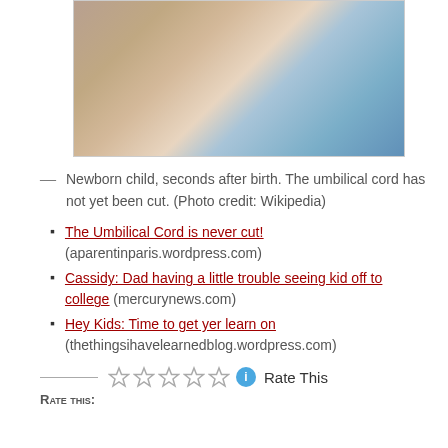[Figure (photo): Newborn child being held seconds after birth, umbilical cord still attached, gloved hands visible, blue surgical drape in background.]
— Newborn child, seconds after birth. The umbilical cord has not yet been cut. (Photo credit: Wikipedia)
The Umbilical Cord is never cut! (aparentinparis.wordpress.com)
Cassidy: Dad having a little trouble seeing kid off to college (mercurynews.com)
Hey Kids: Time to get yer learn on (thethingsihavelearnedblog.wordpress.com)
Rate This
Rate this: